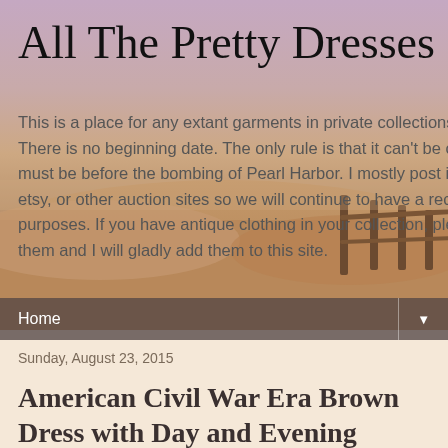[Figure (photo): Beach scene with sandy dunes, wooden fence, and a pink/purple sky with warm orange tones. Used as the header background image for the blog.]
All The Pretty Dresses
This is a place for any extant garments in private collections from about 1941 back. There is no beginning date. The only rule is that it can't be currently in a museum and must be before the bombing of Pearl Harbor. I mostly post items I've seen on ebay, etsy, or other auction sites so we will continue to have a record of them for research purposes. If you have antique clothing in your collection, please email me pictures of them and I will gladly add them to this site.
Home
Sunday, August 23, 2015
American Civil War Era Brown Dress with Day and Evening Bodices